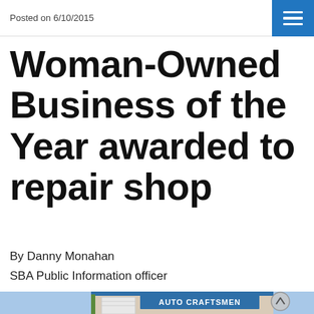Posted on 6/10/2015
Woman-Owned Business of the Year awarded to repair shop
By Danny Monahan
SBA Public Information officer
[Figure (photo): Building exterior with 'Auto Craftsmen' sign visible, partial view of a car repair shop storefront with blue trim and garage doors.]